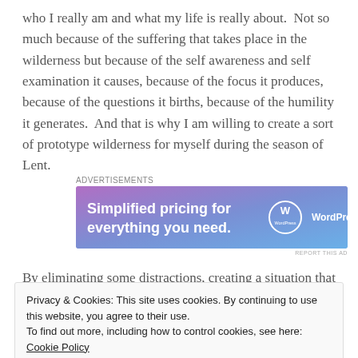who I really am and what my life is really about.  Not so much because of the suffering that takes place in the wilderness but because of the self awareness and self examination it causes, because of the focus it produces, because of the questions it births, because of the humility it generates.  And that is why I am willing to create a sort of prototype wilderness for myself during the season of Lent.
[Figure (other): WordPress.com advertisement banner: 'Simplified pricing for everything you need.' with WordPress.com logo. Purple to blue gradient background.]
By eliminating some distractions, creating a situation that
Privacy & Cookies: This site uses cookies. By continuing to use this website, you agree to their use.
To find out more, including how to control cookies, see here: Cookie Policy
it takes a while to transition from being in a deep sleep to